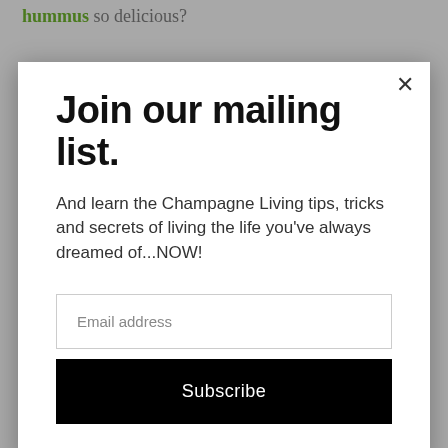hummus so delicious?
For me, it's about TASTE. I have a good friend
Join our mailing list.
And learn the Champagne Living tips, tricks and secrets of living the life you've always dreamed of...NOW!
Email address
Subscribe
* Real Mediterranean sesame tahini
* Authentic, imported Mediterranean herbs and